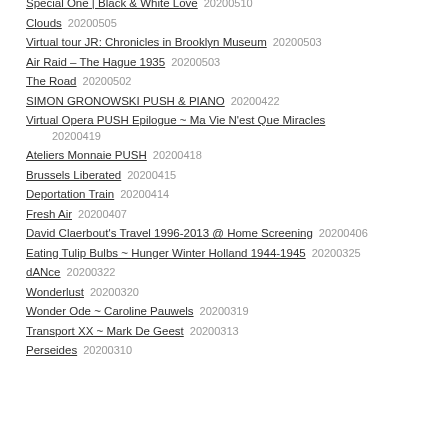Special One | Black & White Love  20200510
Clouds  20200505
Virtual tour JR: Chronicles in Brooklyn Museum  20200503
Air Raid – The Hague 1935  20200503
The Road  20200502
SIMON GRONOWSKI PUSH & PIANO  20200422
Virtual Opera PUSH Epilogue ~ Ma Vie N'est Que Miracles  20200419
Ateliers Monnaie PUSH  20200418
Brussels Liberated  20200415
Deportation Train  20200414
Fresh Air  20200407
David Claerbout's Travel 1996-2013 @ Home Screening  20200406
Eating Tulip Bulbs ~ Hunger Winter Holland 1944-1945  20200325
dANce  20200322
Wonderlust  20200320
Wonder Ode ~ Caroline Pauwels  20200319
Transport XX ~ Mark De Geest  20200313
Perseides  20200310